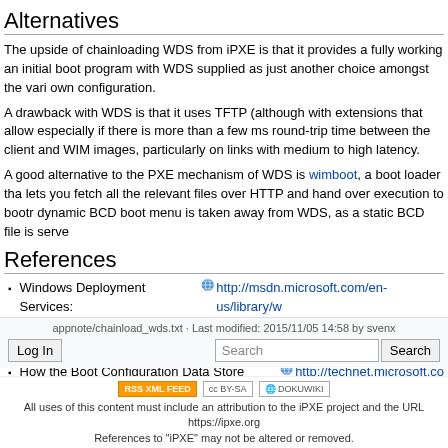Alternatives
The upside of chainloading WDS from iPXE is that it provides a fully working an initial boot program with WDS supplied as just another choice amongst the vari own configuration.
A drawback with WDS is that it uses TFTP (although with extensions that allow especially if there is more than a few ms round-trip time between the client and WIM images, particularly on links with medium to high latency.
A good alternative to the PXE mechanism of WDS is wimboot, a boot loader tha lets you fetch all the relevant files over HTTP and hand over execution to bootr dynamic BCD boot menu is taken away from WDS, as a static BCD file is serve
References
Windows Deployment Services: http://msdn.microsoft.com/en-us/library/w
Managing Network Boot Programs: http://technet.microsoft.com/en-us/lib
How the Boot Configuration Data Store Works: http://technet.microsoft.co
iPXE WinPE howto
appnote/chainload_wds.txt · Last modified: 2015/11/05 14:58 by svenx
All uses of this content must include an attribution to the iPXE project and the URL https://ipxe.org References to "iPXE" may not be altered or removed.